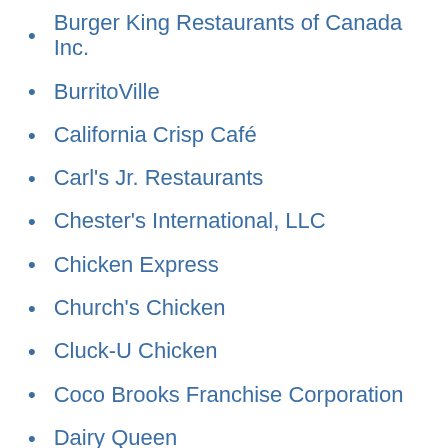Burger King Restaurants of Canada Inc.
BurritoVille
California Crisp Café
Carl's Jr. Restaurants
Chester's International, LLC
Chicken Express
Church's Chicken
Cluck-U Chicken
Coco Brooks Franchise Corporation
Dairy Queen